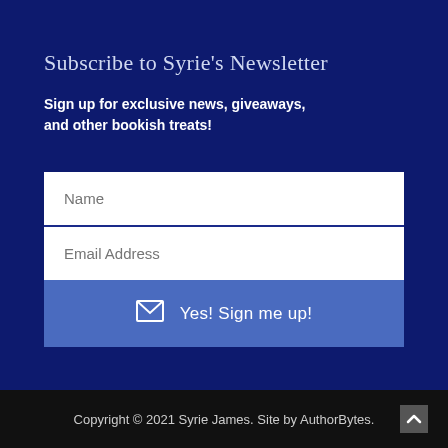Subscribe to Syrie's Newsletter
Sign up for exclusive news, giveaways, and other bookish treats!
[Figure (other): Newsletter signup form with Name field, Email Address field, and a 'Yes! Sign me up!' submit button with envelope icon]
Copyright © 2021 Syrie James. Site by AuthorBytes.